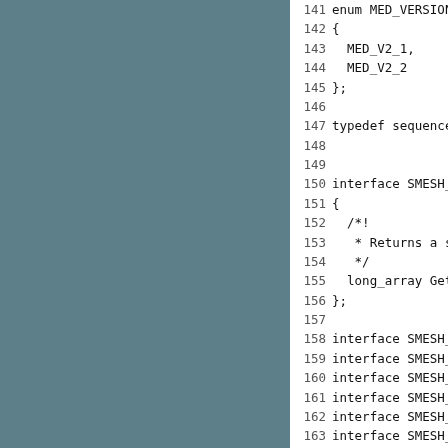[Figure (other): Source code listing (IDL/CORBA interface definition) with line numbers 141-172, showing enum MED_VERSION, typedef, interface SMESH_IDSource, and interface SMESH_Mesh declarations]